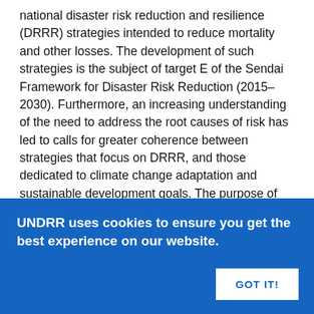national disaster risk reduction and resilience (DRRR) strategies intended to reduce mortality and other losses. The development of such strategies is the subject of target E of the Sendai Framework for Disaster Risk Reduction (2015–2030). Furthermore, an increasing understanding of the need to address the root causes of risk has led to calls for greater coherence between strategies that focus on DRRR, and those dedicated to climate change adaptation and sustainable development goals. The purpose of this paper is to increase knowledge on associated decision-making in general, and in Sweden in particular. It is analyzes the relevance and scope of a Swedish DRRR strategy, and identify drivers and barriers to integrated development and implementation. Based on document reviews, and interviews and group discussions with representatives in Sweden and six European countries, the results highlight a growing awareness that much remains to be learnt and shared between domains in order to progress towards integrated DRRR and more climate-proof sustainable development. In practice, most
UNDRR uses cookies to ensure you get the best experience on our website.